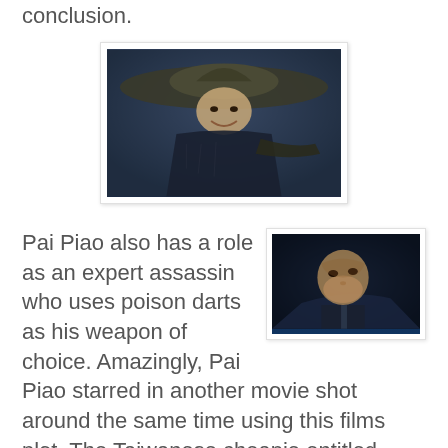conclusion.
[Figure (photo): A person wearing a wide-brimmed Asian conical hat and dark armored costume, depicted in a cinematic dark blue-toned scene, gesturing with one arm.]
Pai Piao also has a role as an expert assassin who uses poison darts as his weapon of choice. Amazingly, Pai Piao starred in another movie shot around the same time using this films plot. The Taiwanese cheapie entitled DEMON STRIKE (1979) had Pai as the head constable seeking the gold robbers. Throw in
[Figure (photo): A person's face looking upward in a dark cinematic scene with low lighting and dramatic shadows.]